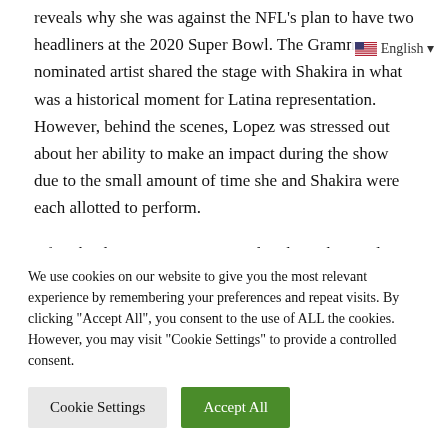reveals why she was against the NFL's plan to have two headliners at the 2020 Super Bowl. The Grammy-nominated artist shared the stage with Shakira in what was a historical moment for Latina representation. However, behind the scenes, Lopez was stressed out about her ability to make an impact during the show due to the small amount of time she and Shakira were each allotted to perform.
After the documentary premiered at the Tribeca Film Festival in New York City, Entertainment Weekly reported details about
We use cookies on our website to give you the most relevant experience by remembering your preferences and repeat visits. By clicking "Accept All", you consent to the use of ALL the cookies. However, you may visit "Cookie Settings" to provide a controlled consent.